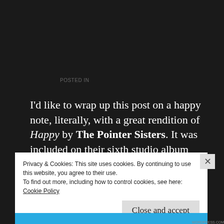POSTED IN
I'd like to wrap up this post on a happy note, literally, with a great rendition of Happy by The Pointer Sisters. It was included on their sixth studio album Priority, which came out in September 1979 and was their second foray into rock. Their first was predecessor Energy from November 1978, which was…
Privacy & Cookies: This site uses cookies. By continuing to use this website, you agree to their use.
To find out more, including how to control cookies, see here:
Cookie Policy
Close and accept